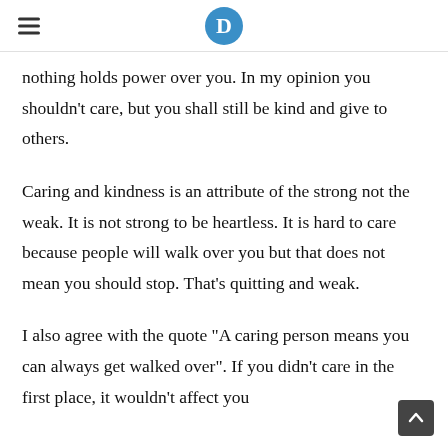D
nothing holds power over you. In my opinion you shouldn’t care, but you shall still be kind and give to others.
Caring and kindness is an attribute of the strong not the weak. It is not strong to be heartless. It is hard to care because people will walk over you but that does not mean you should stop. That’s quitting and weak.
I also agree with the quote “A caring person means you can always get walked over”. If you didn’t care in the first place, it wouldn’t affect you